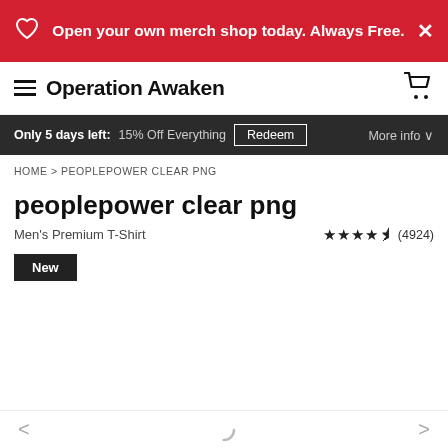Open your own merch shop today. Always Free.
Operation Awaken
Only 5 days left: 15% Off Everything  Redeem  More info
HOME > PEOPLEPOWER CLEAR PNG
peoplepower clear png
Men's Premium T-Shirt  ★★★★½ (4924)
New